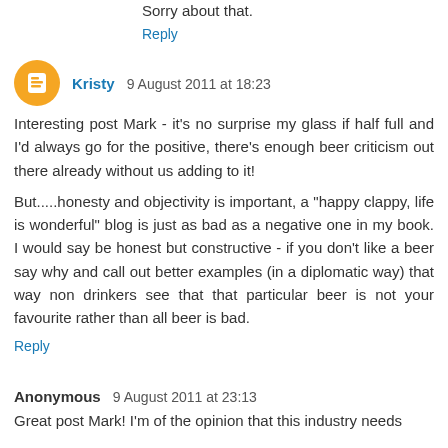Sorry about that.
Reply
Kristy 9 August 2011 at 18:23
Interesting post Mark - it's no surprise my glass if half full and I'd always go for the positive, there's enough beer criticism out there already without us adding to it!
But.....honesty and objectivity is important, a "happy clappy, life is wonderful" blog is just as bad as a negative one in my book. I would say be honest but constructive - if you don't like a beer say why and call out better examples (in a diplomatic way) that way non drinkers see that that particular beer is not your favourite rather than all beer is bad.
Reply
Anonymous 9 August 2011 at 23:13
Great post Mark! I'm of the opinion that this industry needs